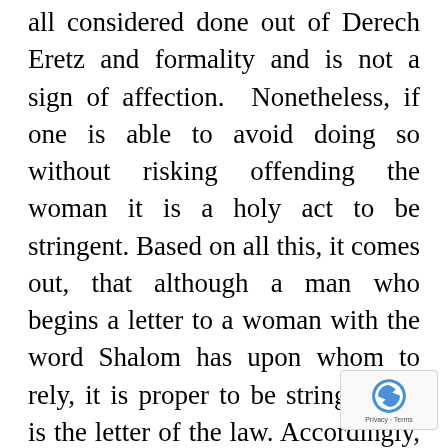all considered done out of Derech Eretz and formality and is not a sign of affection.  Nonetheless, if one is able to avoid doing so without risking offending the woman it is a holy act to be stringent. Based on all this, it comes out, that although a man who begins a letter to a woman with the word Shalom has upon whom to rely, it is proper to be stringent, as is the letter of the law. Accordingly, you should avoid beginning the letter with the word Shalom, and so was indeed the custom of the Rebbe, as we will now explain.